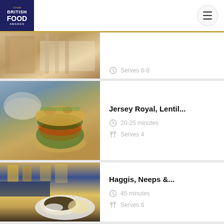Great British Food Awards
[Figure (screenshot): Partial recipe card visible at top - food image of breadsticks/dipping food, with text 'Serves 6-8' partially visible]
[Figure (photo): Photo of a vegetable burger/patty burger on a bun with greens]
Jersey Royal, Lentil...
20-25 minutes
Serves 4
[Figure (photo): Photo of Haggis, Neeps and Tatties dish with whisky glasses]
Haggis, Neeps &...
45 minutes
Serves 6